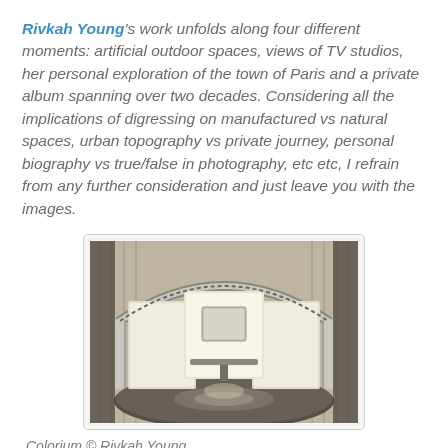Rivkah Young's work unfolds along four different moments: artificial outdoor spaces, views of TV studios, her personal exploration of the town of Paris and a private album spanning over two decades. Considering all the implications of digressing on manufactured vs natural spaces, urban topography vs private journey, personal biography vs true/false in photography, etc etc, I refrain from any further consideration and just leave you with the images.
[Figure (photo): Interior of a futuristic TV studio set showing a curved metallic frame structure with white panels, a table and chair in the center, reflected on a shiny floor, with draped curtains in the background.]
Colorium © Rivkah Young
I lavori di Rivkah Young disegnano un intersessante